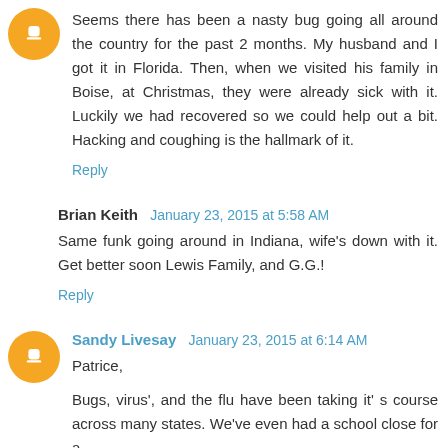Seems there has been a nasty bug going all around the country for the past 2 months. My husband and I got it in Florida. Then, when we visited his family in Boise, at Christmas, they were already sick with it. Luckily we had recovered so we could help out a bit. Hacking and coughing is the hallmark of it.
Reply
Brian Keith  January 23, 2015 at 5:58 AM
Same funk going around in Indiana, wife's down with it. Get better soon Lewis Family, and G.G.!
Reply
Sandy Livesay  January 23, 2015 at 6:14 AM
Patrice,
Bugs, virus', and the flu have been taking it' s course across many states. We've even had a school close for a